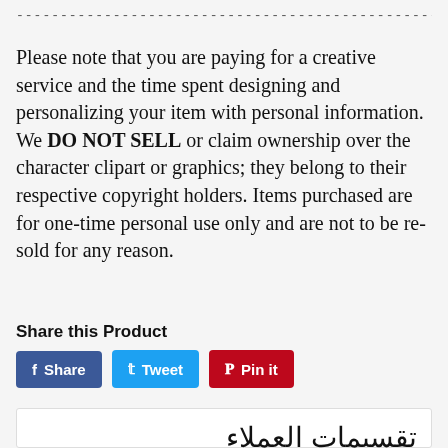----------------------------------------------------------------
Please note that you are paying for a creative service and the time spent designing and personalizing your item with personal information. We DO NOT SELL or claim ownership over the character clipart or graphics; they belong to their respective copyright holders. Items purchased are for one-time personal use only and are not to be re-sold for any reason.
Share this Product
Share  Tweet  Pin it
تقسيمات العملاء